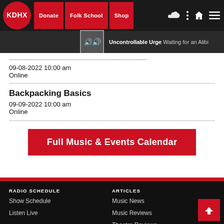KDHX | Donate | Folk School | Shop
Uncontrollable Urge  Waiting for an Alibi
09-08-2022 10:00 am
Online
Backpacking Basics
09-09-2022 10:00 am
Online
Full Music & Events Calendar
RADIO SCHEDULE
Show Schedule
Listen Live
MUSIC & EVENTS CALENDAR
Music and Event Calendar Submission
ARTICLES
Music News
Music Reviews
Theatre Reviews
Film Reviews
Classical
Cabaret